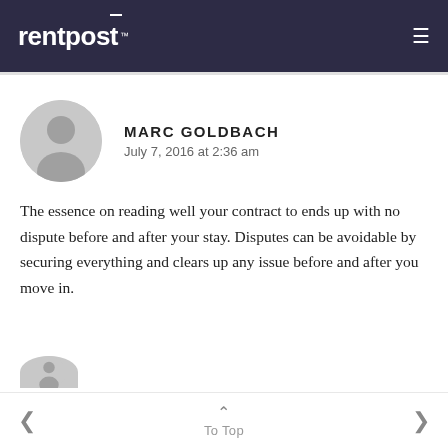rentpost™
MARC GOLDBACH
July 7, 2016 at 2:36 am
The essence on reading well your contract to ends up with no dispute before and after your stay. Disputes can be avoidable by securing everything and clears up any issue before and after you move in.
< To Top >